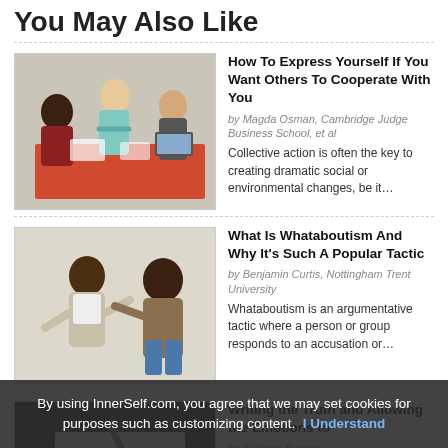You May Also Like
[Figure (photo): Group of diverse people collaborating around a table in a bright office setting]
How To Express Yourself If You Want Others To Cooperate With You
by Magda Osman, Cambridge Judge Business School, et al
Collective action is often the key to creating dramatic social or environmental changes, be it…
[Figure (photo): Two people in a heated argument, one pointing at the other]
What Is Whataboutism And Why It's Such A Popular Tactic
by Benjamin Curtis, Nottingham Trent University
Whataboutism is an argumentative tactic where a person or group responds to an accusation or…
[Figure (photo): Close-up of someone writing with a pen on paper]
Writing the Truth and Allowing the Emotions to
by Barbara Berger
Writing things down is a good way
By using InnerSelf.com, you agree that we may set cookies for purposes such as customizing content.  I Understand